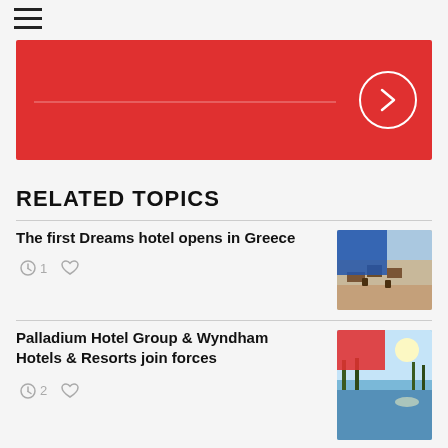[Figure (other): Hamburger menu icon (three horizontal bars)]
[Figure (other): Red banner with horizontal white line and right-arrow circle button]
RELATED TOPICS
The first Dreams hotel opens in Greece
[Figure (photo): Photo of outdoor dining area with tables and chairs on a wooden deck, with a blue rectangle overlay]
1
Palladium Hotel Group & Wyndham Hotels & Resorts join forces
[Figure (photo): Photo of tropical resort with palm trees reflected in water, with a red rectangle overlay]
2